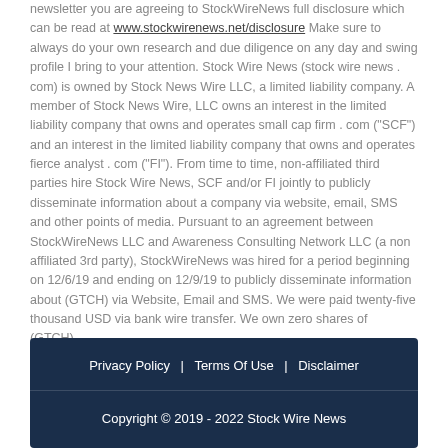newsletter you are agreeing to StockWireNews full disclosure which can be read at www.stockwirenews.net/disclosure Make sure to always do your own research and due diligence on any day and swing profile I bring to your attention. Stock Wire News (stock wire news . com) is owned by Stock News Wire LLC, a limited liability company. A member of Stock News Wire, LLC owns an interest in the limited liability company that owns and operates small cap firm . com ("SCF") and an interest in the limited liability company that owns and operates fierce analyst . com ("FI"). From time to time, non-affiliated third parties hire Stock Wire News, SCF and/or FI jointly to publicly disseminate information about a company via website, email, SMS and other points of media. Pursuant to an agreement between StockWireNews LLC and Awareness Consulting Network LLC (a non affiliated 3rd party), StockWireNews was hired for a period beginning on 12/6/19 and ending on 12/9/19 to publicly disseminate information about (GTCH) via Website, Email and SMS. We were paid twenty-five thousand USD via bank wire transfer. We own zero shares of (GTCH).
Privacy Policy | Terms Of Use | Disclaimer
Copyright © 2019 - 2022 Stock Wire News